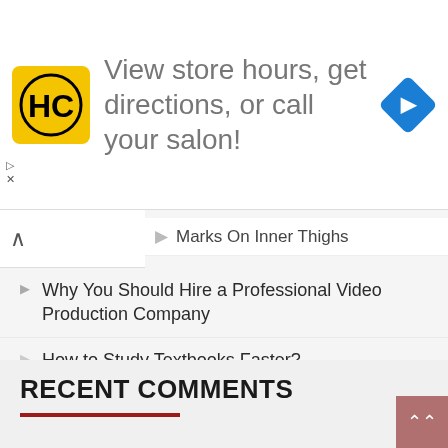[Figure (infographic): Advertisement banner with HC salon logo (yellow square with HC letters) and text 'View store hours, get directions, or call your salon!' with blue navigation diamond icon on the right]
Marks On Inner Thighs
Why You Should Hire a Professional Video Production Company
How to Study Textbooks Faster?
Top 5 Benefits Of Digital Marketing For Small Business Owners
How to Navigate to the Closest Grocery Store with Google Maps
RECENT COMMENTS